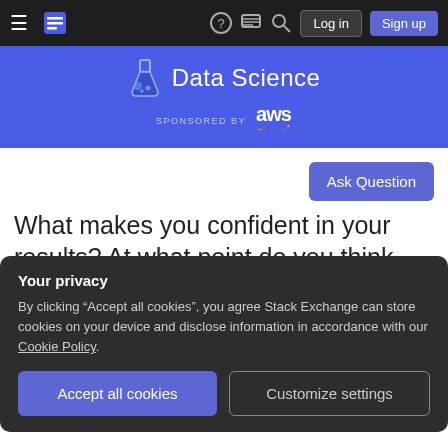Navigation bar with hamburger menu, Stack Exchange logo, help, chat, search icons, Log in and Sign up buttons
[Figure (screenshot): Data Science Stack Exchange banner with flask logo and AWS sponsorship on blue background]
Ask Question
What makes you confident in your results? At what point do you think you
Your privacy
By clicking "Accept all cookies", you agree Stack Exchange can store cookies on your device and disclose information in accordance with our Cookie Policy.
Accept all cookies  Customize settings